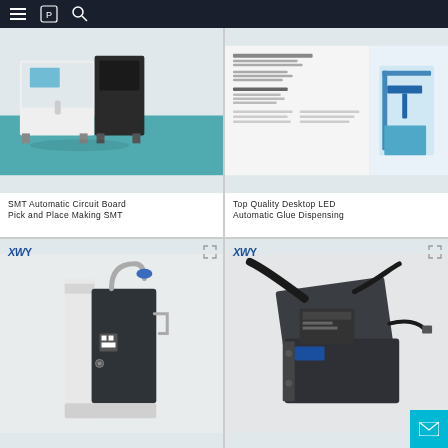Navigation bar with menu, logo, and search icons
[Figure (photo): SMT automatic circuit board pick and place machine in a factory setting with white cabinet and teal floor]
SMT Automatic Circuit Board Pick and Place Making SMT
[Figure (photo): Top Quality Desktop LED Automatic Glue Dispensing machine datasheet with product image of blue dispensing machine]
Top Quality Desktop LED Automatic Glue Dispensing
[Figure (photo): XWY branded SMT feeder/component device, dark grey metal unit with blue fitting on top]
[Figure (photo): XWY branded electronic module with cables attached, dark grey metal housing]